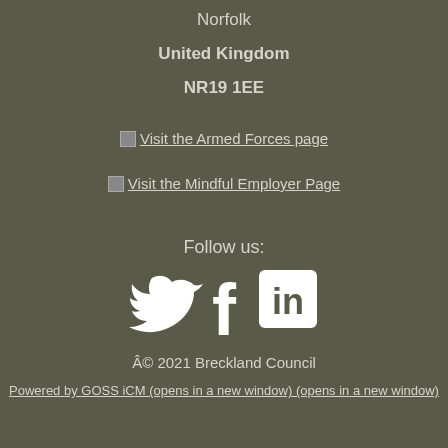Norfolk
United Kingdom
NR19 1EE
Visit the Armed Forces page
Visit the Mindful Employer Page
Follow us:
[Figure (illustration): Three social media icons: Twitter bird icon, Facebook f icon, and LinkedIn in icon, all in white]
Â© 2021 Breckland Council
Powered by GOSS iCM (opens in a new window) (opens in a new window)